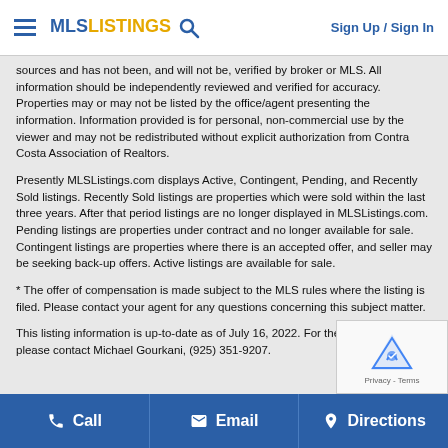MLS LISTINGS — Sign Up / Sign In
sources and has not been, and will not be, verified by broker or MLS. All information should be independently reviewed and verified for accuracy. Properties may or may not be listed by the office/agent presenting the information. Information provided is for personal, non-commercial use by the viewer and may not be redistributed without explicit authorization from Contra Costa Association of Realtors.
Presently MLSListings.com displays Active, Contingent, Pending, and Recently Sold listings. Recently Sold listings are properties which were sold within the last three years. After that period listings are no longer displayed in MLSListings.com. Pending listings are properties under contract and no longer available for sale. Contingent listings are properties where there is an accepted offer, and seller may be seeking back-up offers. Active listings are available for sale.
* The offer of compensation is made subject to the MLS rules where the listing is filed. Please contact your agent for any questions concerning this subject matter.
This listing information is up-to-date as of July 16, 2022. For the most information, please contact Michael Gourkani, (925) 351-9207.